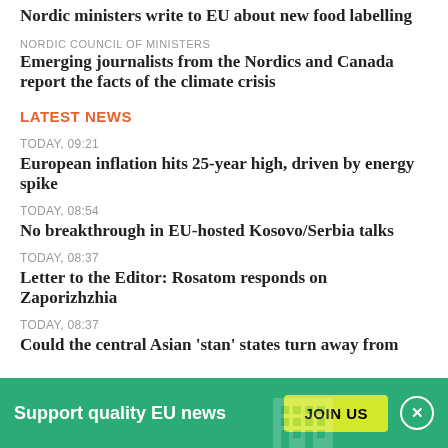Nordic ministers write to EU about new food labelling
NORDIC COUNCIL OF MINISTERS
Emerging journalists from the Nordics and Canada report the facts of the climate crisis
LATEST NEWS
TODAY, 09:21
European inflation hits 25-year high, driven by energy spike
TODAY, 08:54
No breakthrough in EU-hosted Kosovo/Serbia talks
TODAY, 08:37
Letter to the Editor: Rosatom responds on Zaporizhzhia
TODAY, 08:37
Could the central Asian 'stan' states turn away from
Support quality EU news
JOIN US